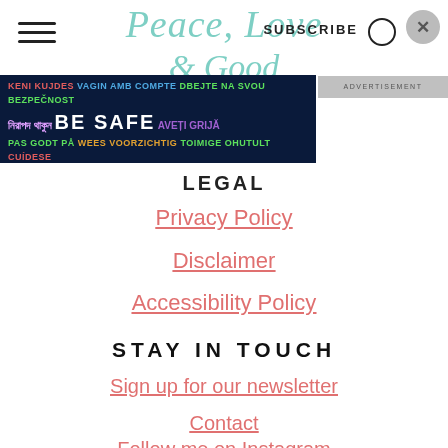Peace, Love [site logo] | SUBSCRIBE
[Figure (infographic): Dark blue safety banner with multilingual 'BE SAFE' messages in colored text across multiple rows]
[Figure (other): ADVERTISEMENT label in grey box]
LEGAL
Privacy Policy
Disclaimer
Accessibility Policy
STAY IN TOUCH
Sign up for our newsletter
Contact
Follow me on Instagram